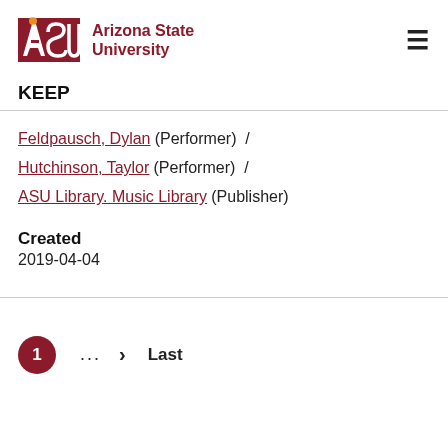[Figure (logo): Arizona State University logo with ASU letters and sunburst icon]
KEEP
Feldpausch, Dylan (Performer) / Hutchinson, Taylor (Performer) / ASU Library. Music Library (Publisher)
Created
2019-04-04
1 ... > Last